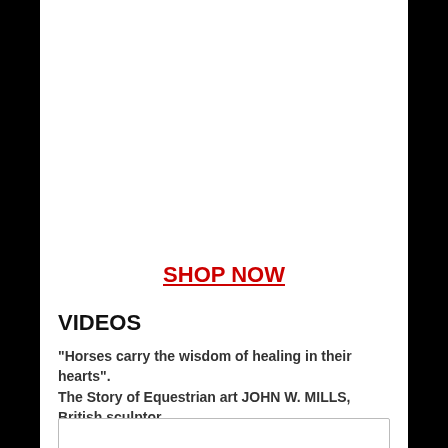SHOP NOW
VIDEOS
"Horses carry the wisdom of healing in their hearts".
The Story of Equestrian art JOHN W. MILLS, British sculptor
[Figure (other): Empty video box/frame at the bottom of the page]